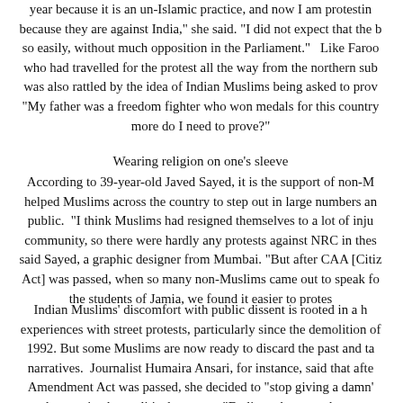year because it is an un-Islamic practice, and now I am protesting because they are against India," she said. "I did not expect that the bill would pass so easily, without much opposition in the Parliament." Like Farooq, who had travelled for the protest all the way from the northern suburbs, was also rattled by the idea of Indian Muslims being asked to prove citizenship. "My father was a freedom fighter who won medals for this country. How much more do I need to prove?"
Wearing religion on one's sleeve
According to 39-year-old Javed Sayed, it is the support of non-Muslims that helped Muslims across the country to step out in large numbers and protest in public. "I think Muslims had resigned themselves to a lot of injustices as a community, so there were hardly any protests against NRC in these years," said Sayed, a graphic designer from Mumbai. "But after CAA [Citizenship Amendment Act] was passed, when so many non-Muslims came out to speak for us and for the students of Jamia, we found it easier to protest."
Indian Muslims' discomfort with public dissent is rooted in a history of bad experiences with street protests, particularly since the demolition of the Babri Masjid in 1992. But some Muslims are now ready to discard the past and take control of their narratives. Journalist Humaira Ansari, for instance, said that after the Citizenship Amendment Act was passed, she decided to "stop giving a damn" about how other people perceive her political stances. "Earlier, whenever there were...